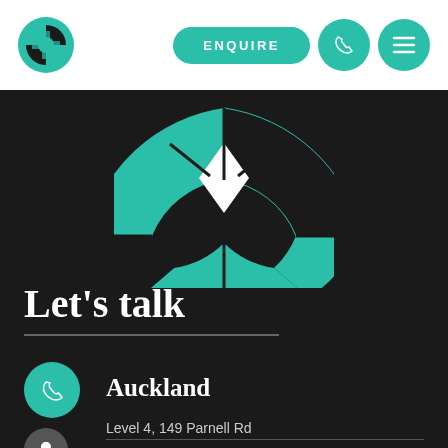[Figure (logo): Teal circular logo with cross/lifesaver ring motif]
ENQUIRE
[Figure (illustration): Teal and dark segmented donut/pie chart graphic used as decorative brand element]
Let's talk
Auckland
Level 4, 149 Parnell Rd